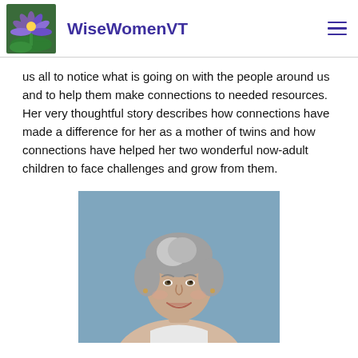WiseWomenVT
us all to notice what is going on with the people around us and to help them make connections to needed resources. Her very thoughtful story describes how connections have made a difference for her as a mother of twins and how connections have helped her two wonderful now-adult children to face challenges and grow from them.
[Figure (photo): Portrait photo of a middle-aged woman with short gray hair, smiling, against a blue-gray background]